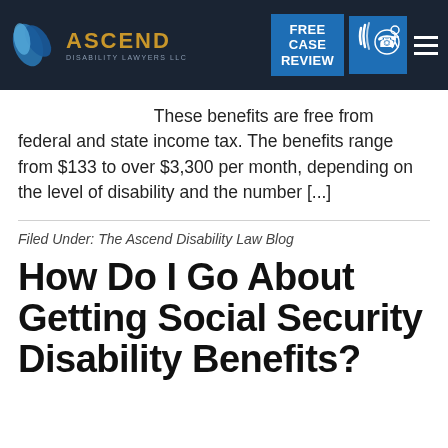Ascend Disability Lawyers LLC — FREE CASE REVIEW
These benefits are free from federal and state income tax. The benefits range from $133 to over $3,300 per month, depending on the level of disability and the number [...]
Filed Under: The Ascend Disability Law Blog
How Do I Go About Getting Social Security Disability Benefits?